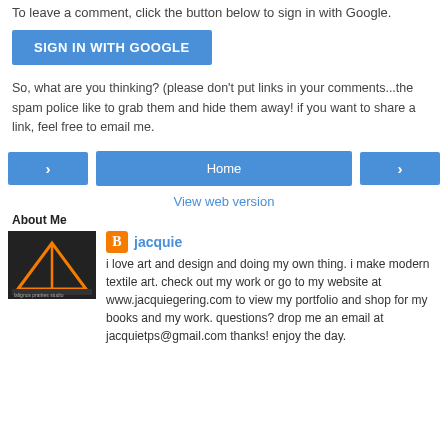To leave a comment, click the button below to sign in with Google.
[Figure (screenshot): Blue 'SIGN IN WITH GOOGLE' button]
So, what are you thinking? (please don't put links in your comments...the spam police like to grab them and hide them away! if you want to share a link, feel free to email me.
[Figure (screenshot): Navigation row with left arrow button, Home button, and right arrow button]
View web version
About Me
[Figure (photo): Profile image thumbnail showing a dark architectural/art studio graphic with orange diagonal element]
jacquie
i love art and design and doing my own thing. i make modern textile art. check out my work or go to my website at www.jacquiegering.com to view my portfolio and shop for my books and my work. questions? drop me an email at jacquietps@gmail.com thanks! enjoy the day.